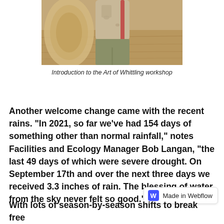[Figure (photo): Partial photo of a person in work/outdoor clothing standing near a wooden surface, cropped to show torso and legs]
Introduction to the Art of Whittling workshop
Another welcome change came with the recent rains. “In 2021, so far we’ve had 154 days of something other than normal rainfall,” notes Facilities and Ecology Manager Bob Langan, “the last 49 days of which were severe drought. On September 17th and over the next three days we received 3.3 inches of rain. The blessing of water from the sky never felt so good.”
With lots of season-by-season shifts to break free